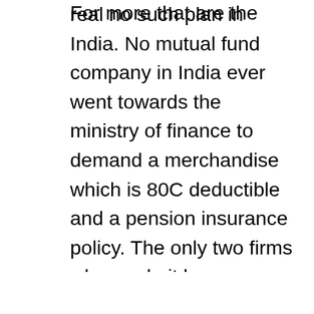real no such plan in India. No mutual fund company in India ever went towards the ministry of finance to demand a merchandise which is 80C deductible and a pension insurance policy. The only two firms who made it happen were Kothari Pioneer and UTI. As a no decision concerning how to get your cash back in pension products of insurance companies. They decide how much cash you will become back and have buy an annuity. I got an annuity of five per cent from an insurance provider. Now that's minuscule as i can get nine per-cent return on a bond issued by leading loaners! Buying a good equity fund from a mutual fund company is better than purchasing pension plan from a coverage company.
For more that are the some considerations and